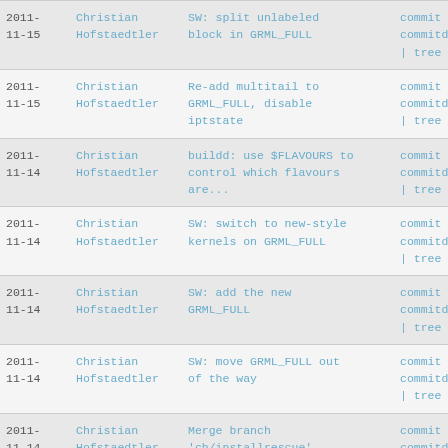| Date | Author | Message | Links |
| --- | --- | --- | --- |
| 2011-
11-15 | Christian Hofstaedtler | SW: split unlabeled block in GRML_FULL | commit | commitdiff | tree |
| 2011-
11-15 | Christian Hofstaedtler | Re-add multitail to GRML_FULL, disable iptstate | commit | commitdiff | tree |
| 2011-
11-14 | Christian Hofstaedtler | buildd: use $FLAVOURS to control which flavours are... | commit | commitdiff | tree |
| 2011-
11-14 | Christian Hofstaedtler | SW: switch to new-style kernels on GRML_FULL | commit | commitdiff | tree |
| 2011-
11-14 | Christian Hofstaedtler | SW: add the new GRML_FULL | commit | commitdiff | tree |
| 2011-
11-14 | Christian Hofstaedtler | SW: move GRML_FULL out of the way | commit | commitdiff | tree |
| 2011-
11-14 | Christian Hofstaedtler | Merge branch 'ch/installrescue' | commit | commitdiff | tree |